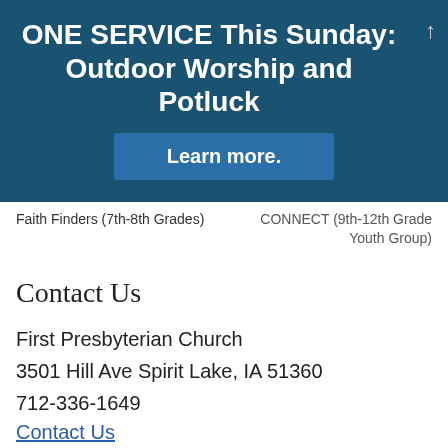ONE SERVICE This Sunday: Outdoor Worship and Potluck
Learn more.
Faith Finders (7th-8th Grades)   CONNECT (9th-12th Grade Youth Group)
Contact Us
First Presbyterian Church
3501 Hill Ave Spirit Lake, IA 51360
712-336-1649
Contact Us
Follow Us